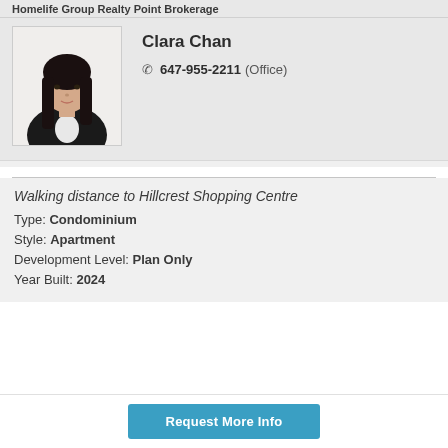Homelife Group Realty Point Brokerage
[Figure (photo): Headshot photo of Clara Chan, a woman with long dark hair wearing a dark blazer over a white top, posed against a white background.]
Clara Chan
647-955-2211 (Office)
Walking distance to Hillcrest Shopping Centre
Type: Condominium
Style: Apartment
Development Level: Plan Only
Year Built: 2024
Request More Info